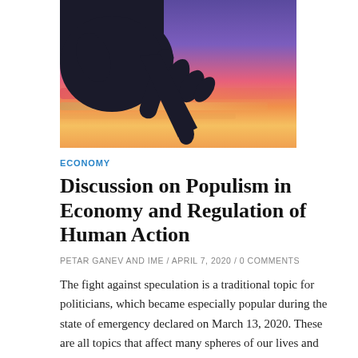[Figure (photo): Silhouette of a hand with pointing finger against a vibrant purple, pink, and orange sunset sky background.]
ECONOMY
Discussion on Populism in Economy and Regulation of Human Action
PETAR GANEV AND IME / APRIL 7, 2020 / 0 COMMENTS
The fight against speculation is a traditional topic for politicians, which became especially popular during the state of emergency declared on March 13, 2020. These are all topics that affect many spheres of our lives and where human action